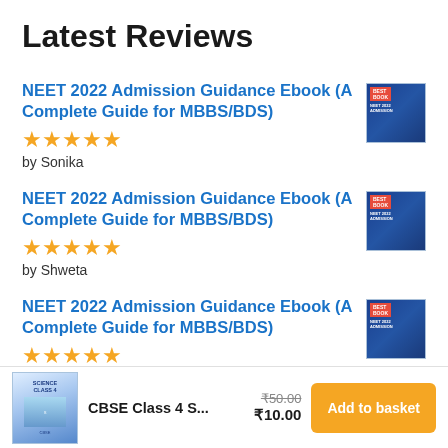Latest Reviews
NEET 2022 Admission Guidance Ebook (A Complete Guide for MBBS/BDS)
★★★★★
by Sonika
NEET 2022 Admission Guidance Ebook (A Complete Guide for MBBS/BDS)
★★★★★
by Shweta
NEET 2022 Admission Guidance Ebook (A Complete Guide for MBBS/BDS)
★★★★★
by shivi
CBSE Class 4 S...
₹50.00 ₹10.00
Add to basket